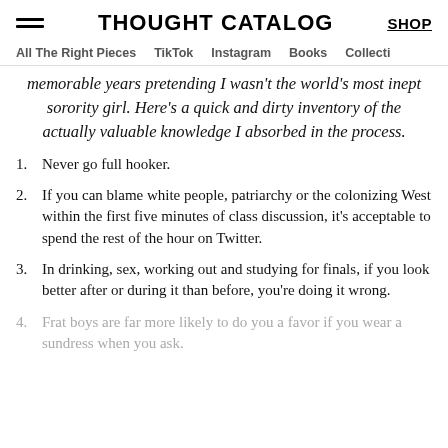THOUGHT CATALOG | SHOP
All The Right Pieces | TikTok | Instagram | Books | Collecti
memorable years pretending I wasn't the world's most inept sorority girl. Here's a quick and dirty inventory of the actually valuable knowledge I absorbed in the process.
1. Never go full hooker.
2. If you can blame white people, patriarchy or the colonizing West within the first five minutes of class discussion, it's acceptable to spend the rest of the hour on Twitter.
3. In drinking, sex, working out and studying for finals, if you look better after or during it than before, you're doing it wrong.
4. Frat boys are far more likely to do you a favor if you wear a sundress when you ask.